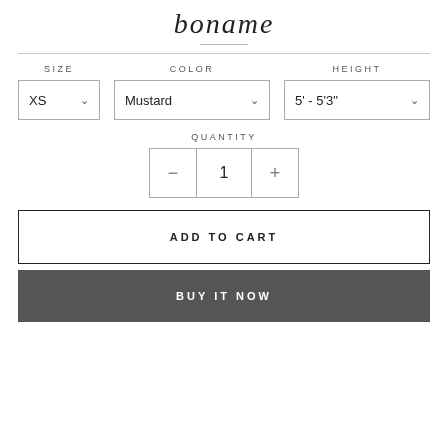boname
SIZE: XS | COLOR: Mustard | HEIGHT: 5' - 5'3"
QUANTITY: 1
ADD TO CART
BUY IT NOW